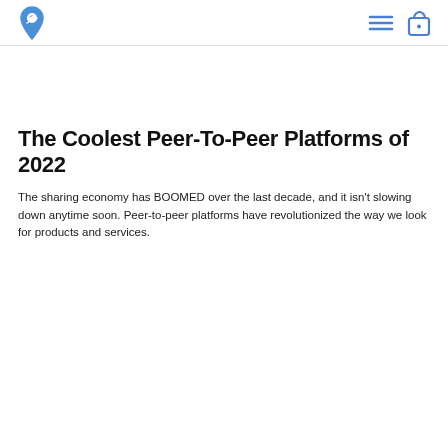The Coolest Peer-To-Peer Platforms of 2022
The sharing economy has BOOMED over the last decade, and it isn't slowing down anytime soon. Peer-to-peer platforms have revolutionized the way we look for products and services.